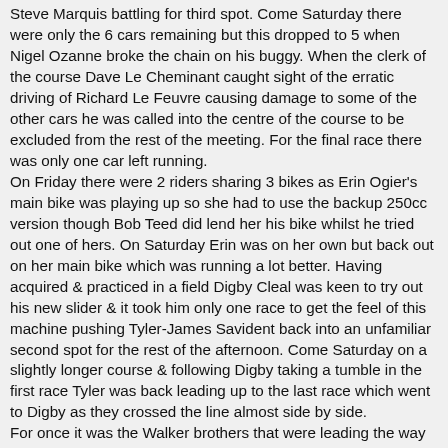Steve Marquis battling for third spot. Come Saturday there were only the 6 cars remaining but this dropped to 5 when Nigel Ozanne broke the chain on his buggy. When the clerk of the course Dave Le Cheminant caught sight of the erratic driving of Richard Le Feuvre causing damage to some of the other cars he was called into the centre of the course to be excluded from the rest of the meeting. For the final race there was only one car left running. On Friday there were 2 riders sharing 3 bikes as Erin Ogier's main bike was playing up so she had to use the backup 250cc version though Bob Teed did lend her his bike whilst he tried out one of hers. On Saturday Erin was on her own but back out on her main bike which was running a lot better. Having acquired & practiced in a field Digby Cleal was keen to try out his new slider & it took him only one race to get the feel of this machine pushing Tyler-James Savident back into an unfamiliar second spot for the rest of the afternoon. Come Saturday on a slightly longer course & following Digby taking a tumble in the first race Tyler was back leading up to the last race which went to Digby as they crossed the line almost side by side. For once it was the Walker brothers that were leading the way in the junior & intermediate's slider class on Friday as Thomas Vining was not present & Lewis Le Blancq was running what sounded like a very sick bike just trickling around the course picking up